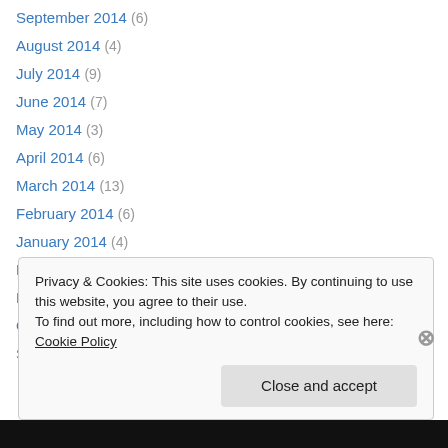September 2014 (6)
August 2014 (4)
July 2014 (9)
June 2014 (7)
May 2014 (3)
April 2014 (6)
March 2014 (13)
February 2014 (6)
January 2014 (4)
December 2013 (4)
November 2013 (7)
October 2013 (10)
September 2013 (11)
Privacy & Cookies: This site uses cookies. By continuing to use this website, you agree to their use. To find out more, including how to control cookies, see here: Cookie Policy